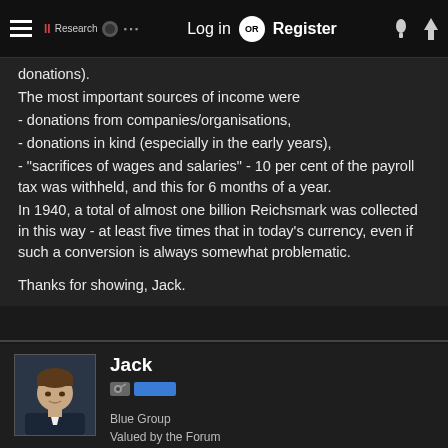Log in OR Register
donations).
The most important sources of income were
- donations from companies/organisations,
- donations in kind (especially in the early years),
- "sacrifices of wages and salaries" - 10 per cent of the payroll tax was withheld, and this for 6 months of a year.
In 1940, a total of almost one billion Reichsmark was collected in this way - at least five times that in today's currency, even if such a conversion is always somewhat problematic.
Thanks for showing, Jack.
Jack
Blue Group
Valued by the Forum